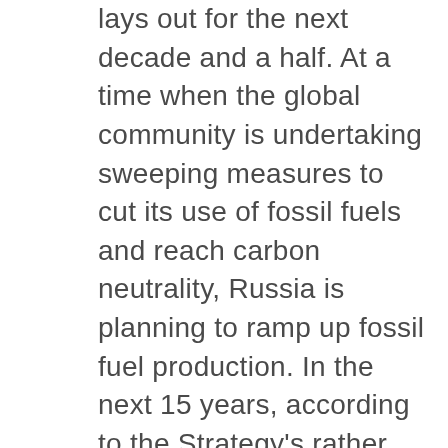lays out for the next decade and a half. At a time when the global community is undertaking sweeping measures to cut its use of fossil fuels and reach carbon neutrality, Russia is planning to ramp up fossil fuel production. In the next 15 years, according to the Strategy's rather optimistic scenario, coalmining is set to increase by about 50% and gas-drilling — by almost 40%, while oil production is expected to remain at today's levels.
For all its booming development around the globe, renewable energy, plays a negligible role in